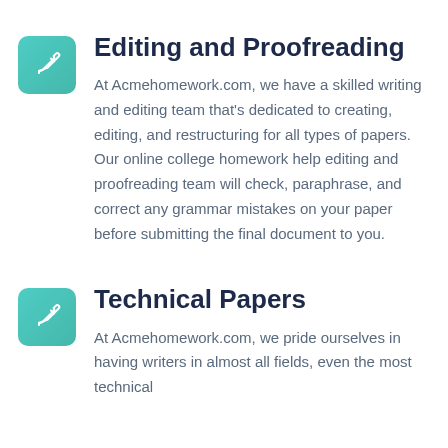Editing and Proofreading
At Acmehomework.com, we have a skilled writing and editing team that's dedicated to creating, editing, and restructuring for all types of papers. Our online college homework help editing and proofreading team will check, paraphrase, and correct any grammar mistakes on your paper before submitting the final document to you.
Technical Papers
At Acmehomework.com, we pride ourselves in having writers in almost all fields, even the most technical ones. You can also reach out to us about any technical